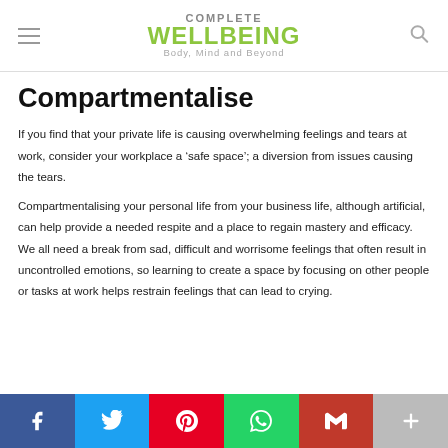COMPLETE WELLBEING — Body, Mind and Beyond
Compartmentalise
If you find that your private life is causing overwhelming feelings and tears at work, consider your workplace a 'safe space'; a diversion from issues causing the tears.
Compartmentalising your personal life from your business life, although artificial, can help provide a needed respite and a place to regain mastery and efficacy. We all need a break from sad, difficult and worrisome feelings that often result in uncontrolled emotions, so learning to create a space by focusing on other people or tasks at work helps restrain feelings that can lead to crying.
Facebook Twitter Pinterest WhatsApp Gmail More